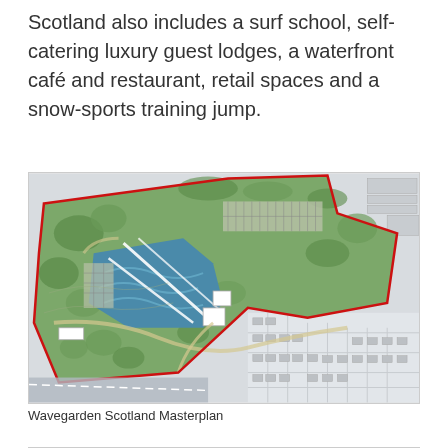Scotland also includes a surf school, self-catering luxury guest lodges, a waterfront café and restaurant, retail spaces and a snow-sports training jump.
[Figure (map): Aerial masterplan illustration of Wavegarden Scotland showing a wave pool facility (blue water), surrounding green landscaped grounds, trees, parking areas, pathways, and adjacent residential and commercial areas. Site boundary marked in red. Buildings shown in white.]
Wavegarden Scotland Masterplan